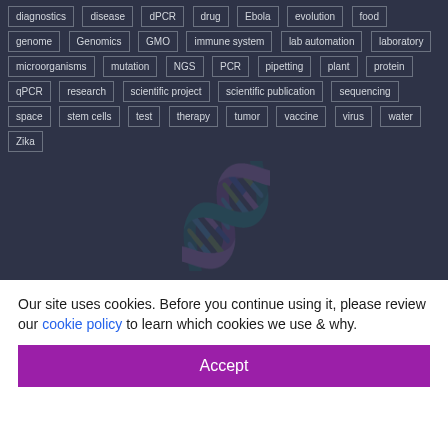[Figure (other): Tag cloud / keyword list on dark navy background showing biology/science topics: diagnostics, disease, dPCR, drug, Ebola, evolution, food, genome, Genomics, GMO, immune system, lab automation, laboratory, microorganisms, mutation, NGS, PCR, pipetting, plant, protein, qPCR, research, scientific project, scientific publication, sequencing, space, stem cells, test, therapy, tumor, vaccine, virus, water, Zika]
Our site uses cookies. Before you continue using it, please review our cookie policy to learn which cookies we use & why.
Accept